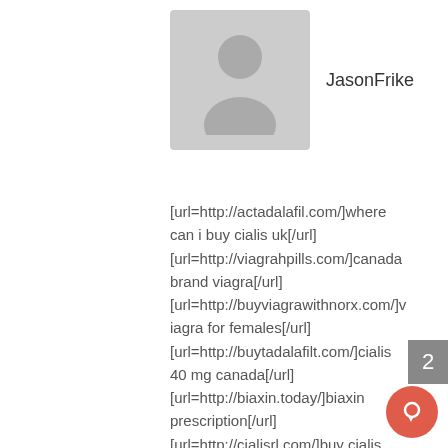[Figure (illustration): Generic user avatar silhouette on grey background]
JasonFrike
[url=http://actadalafil.com/]where can i buy cialis uk[/url] [url=http://viagrahpills.com/]canada brand viagra[/url] [url=http://buyviagrawithnorx.com/]viagra for females[/url] [url=http://buytadalafilt.com/]cialis 40 mg canada[/url] [url=http://biaxin.today/]biaxin prescription[/url] [url=http://cialisrl.com/]buy cialis online paypal[/url] [url=http://sildenafilnh.com/]viagra generic germany[/url] [url=http://ivermectinetab.com/]stromectol online[/url] [url=http://buyprazosin.com/]prazosin[/url] [url=http://sildenafilxc.com/]sildenafil 100mg canada pharmacy[/url]